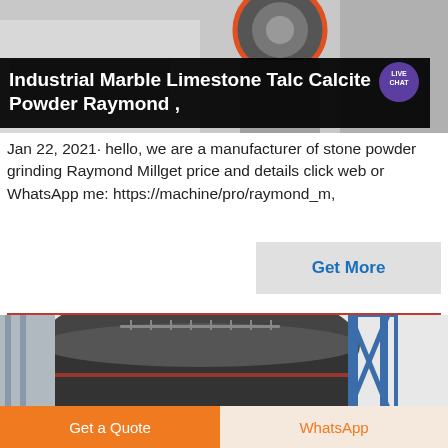[Figure (photo): Industrial grinding machinery, close-up of wheel/disc component, top portion of card image]
Industrial Marble Limestone Talc Calcite Powder Raymond ,
Jan 22, 2021· hello, we are a manufacturer of stone powder grinding Raymond Millget price and details click web or WhatsApp me: https://machine/pro/raymond_m,
[Figure (photo): Industrial Raymond mill equipment, large disc/drum component with blue steel structure scaffolding in background]
Get a Quote
WhatsApp